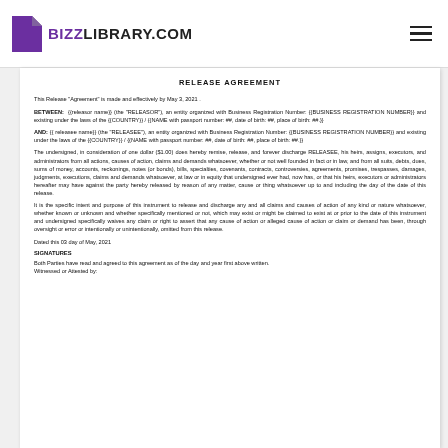BIZZLIBRARY.COM
RELEASE AGREEMENT
This Release "Agreement" is made and effectively by May 3, 2021 .
BETWEEN: {{releasor name}} (the "RELEASOR"), an entity organized with Business Registration Number: {{BUSINESS REGISTRATION NUMBER}} and existing under the laws of the {{COUNTRY}} / {{NAME with passport number: ##, date of birth: ##, place of birth: ##.}}
AND: {{ releasee name}} (the "RELEASEE"), an entity organized with Business Registration Number: {{BUSINESS REGISTRATION NUMBER}} and existing under the laws of the {{COUNTRY}} / {{NAME with passport number: ##, date of birth: ##, place of birth: ##.}}
The undersigned, in consideration of one dollar ($1.00) does hereby remise, release, and forever discharge RELEASEE, his heirs, assigns, executors, and administrators from all actions, causes of action, claims and demands whatsoever, whether or not well founded in fact or in law, and from all suits, debts, dues, sums of money, accounts, reckonings, notes (or bonds), bills, specialties, covenants, contracts, controversies, agreements, promises, trespasses, damages, judgments, executions, claims and demands whatsoever, at law or in equity that undersigned ever had, now has, or that his heirs, executors or administrators hereafter may have against the party hereby released by reason of any matter, cause or thing whatsoever up to and including the day of the date of this release.
It is the specific intent and purpose of this instrument to release and discharge any and all claims and causes of action of any kind or nature whatsoever, whether known or unknown and whether specifically mentioned or not, which may exist or might be claimed to exist at or prior to the date of this instrument and undersigned specifically waives any claim or right to assert that any cause of action or alleged cause of action or claim or demand has been, through oversight or error or intentionally or unintentionally, omitted from this release.
Dated this 03 day of May, 2021
SIGNATURES
Both Parties have read and agreed to this agreement as of the day and year first above written.
Witnessed or Attested by: